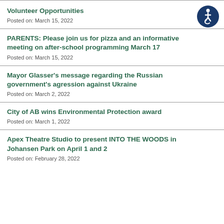Volunteer Opportunities
Posted on: March 15, 2022
PARENTS: Please join us for pizza and an informative meeting on after-school programming March 17
Posted on: March 15, 2022
Mayor Glasser's message regarding the Russian government's agression against Ukraine
Posted on: March 2, 2022
City of AB wins Environmental Protection award
Posted on: March 1, 2022
Apex Theatre Studio to present INTO THE WOODS in Johansen Park on April 1 and 2
Posted on: February 28, 2022